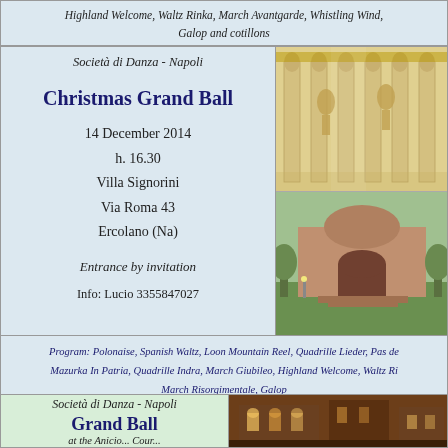Highland Welcome, Waltz Rinka, March Avantgarde, Whistling Wind, Galop and cotillons
Società di Danza - Napoli
Christmas Grand Ball
14 December 2014
h. 16.30
Villa Signorini
Via Roma 43
Ercolano (Na)
Entrance by invitation
Info: Lucio 3355847027
[Figure (photo): Ornate baroque interior with gilded columns and statues]
[Figure (photo): Outdoor view of a historic building with arches and green lawn]
Program: Polonaise, Spanish Waltz, Loon Mountain Reel, Quadrille Lieder, Pas de Mazurka In Patria, Quadrille Indra, March Giubileo, Highland Welcome, Waltz Ri... March Risorgimentale, Galop
Società di Danza - Napoli
Grand Ball
at the Anicio... Cour...
[Figure (photo): Nighttime view of an old stone building with arched windows]